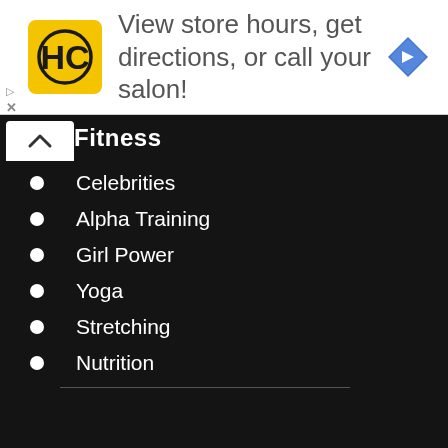[Figure (infographic): Advertisement banner for a hair salon chain (HC logo) with text 'View store hours, get directions, or call your salon!' and a blue navigation arrow icon on the right.]
Fitness
Celebrities
Alpha Training
Girl Power
Yoga
Stretching
Nutrition